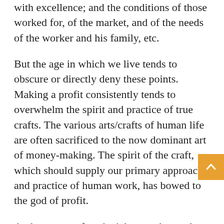with excellence; and the conditions of those worked for, of the market, and of the needs of the worker and his family, etc.
But the age in which we live tends to obscure or directly deny these points. Making a profit consistently tends to overwhelm the spirit and practice of true crafts. The various arts/crafts of human life are often sacrificed to the now dominant art of money-making. The spirit of the craft, which should supply our primary approach and practice of human work, has bowed to the god of profit.
And so many of us don't know what to do. Or perhaps this has gone so far that we are not aware of what has happened, or how things could be. We just feel that something is wrong